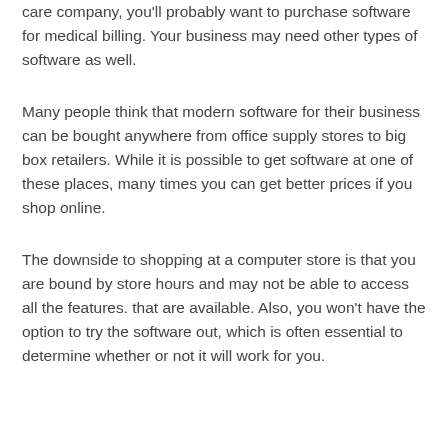care company, you'll probably want to purchase software for medical billing. Your business may need other types of software as well.
Many people think that modern software for their business can be bought anywhere from office supply stores to big box retailers. While it is possible to get software at one of these places, many times you can get better prices if you shop online.
The downside to shopping at a computer store is that you are bound by store hours and may not be able to access all the features. that are available. Also, you won't have the option to try the software out, which is often essential to determine whether or not it will work for you.